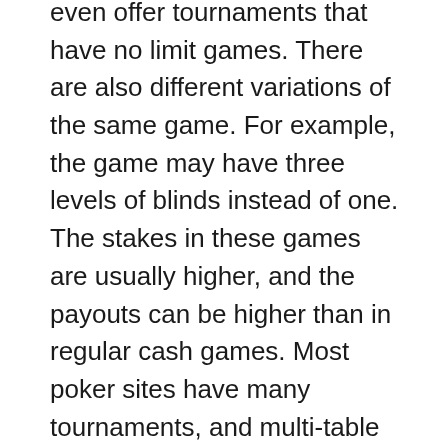even offer tournaments that have no limit games. There are also different variations of the same game. For example, the game may have three levels of blinds instead of one. The stakes in these games are usually higher, and the payouts can be higher than in regular cash games. Most poker sites have many tournaments, and multi-table tournaments tend to have larger payouts. You can also play for cash prizes by winning multiple hands at once!
Some sites require players to convert their funds before they can deposit. Some sites accept payments in various currencies, but will convert them at a lower premium than banks will charge. Other sites only accept U.S. dollars. This is advantageous for players who tend to “top-up” their chip stacks often. Moreover, it helps avoid